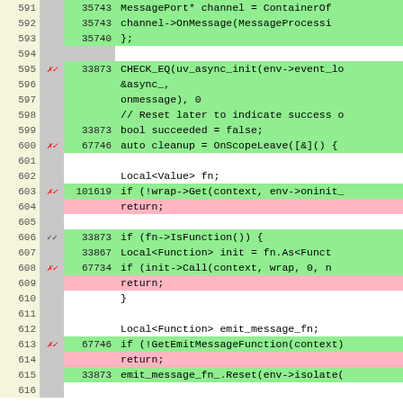[Figure (screenshot): Code coverage viewer showing lines 591-616 of C++ source code with line numbers, hit markers, hit counts, and code content. Green highlighted rows indicate covered lines, pink highlighted rows indicate uncovered lines, and white/blank rows indicate non-executable lines.]